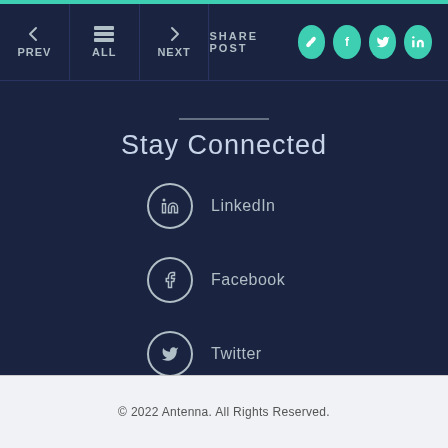< PREV  ALL  > NEXT   SHARE POST
Stay Connected
LinkedIn
Facebook
Twitter
Instagram
© 2022 Antenna. All Rights Reserved.